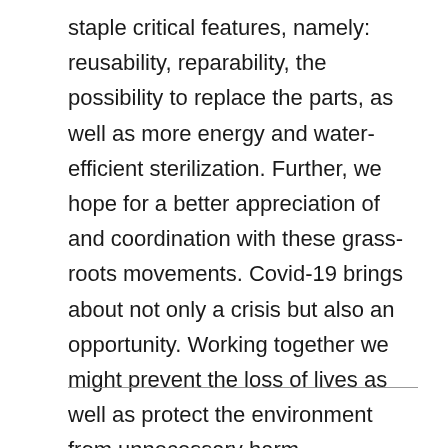staple critical features, namely: reusability, reparability, the possibility to replace the parts, as well as more energy and water-efficient sterilization. Further, we hope for a better appreciation of and coordination with these grass-roots movements. Covid-19 brings about not only a crisis but also an opportunity. Working together we might prevent the loss of lives as well as protect the environment from unnecessary harm.